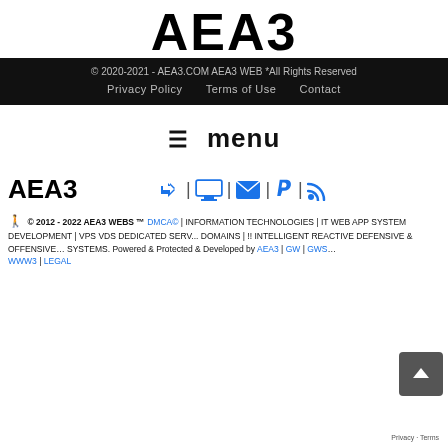AEA3
© 2020-2021 - AEA3.COM AEA3 WEB *All Rights Reserved
Privacy Policy   Terms of Use   Contact
≡ menu
[Figure (logo): AEA3 logo in bold black text with blue icon links: login arrow, monitor, envelope, PayPal, RSS feed]
© 2012 - 2022 AEA3 WEBS ™ DMCA© | INFORMATION TECHNOLOGIES | IT WEB APP SYSTEM DEVELOPMENT | VPS VDS DEDICATED SERV... DOMAINS | !! INTELLIGENT REACTIVE DEFENSIVE & OFFENSIVE... SYSTEMS. Powered & Protected & Developed by AEA3 | GW | GWS... WWW3 | LEGAL